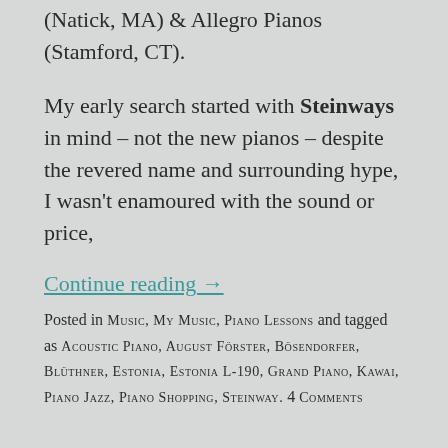(Natick, MA) & Allegro Pianos (Stamford, CT).
My early search started with Steinways in mind – not the new pianos – despite the revered name and surrounding hype, I wasn't enamoured with the sound or price,
Continue reading →
Posted in MUSIC, MY MUSIC, PIANO LESSONS and tagged as ACOUSTIC PIANO, AUGUST FÖRSTER, BÖSENDORFER, BLÜTHNER, ESTONIA, ESTONIA L-190, GRAND PIANO, KAWAI, PIANO JAZZ, PIANO SHOPPING, STEINWAY. 4 COMMENTS